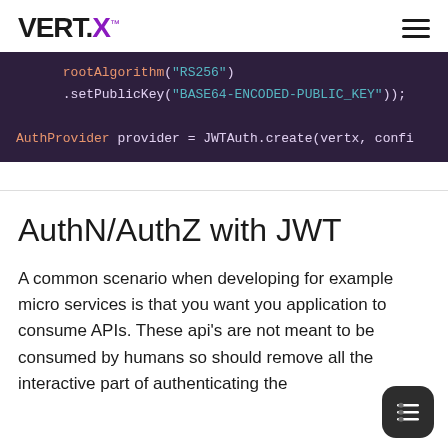VERT.X™
[Figure (screenshot): Code block showing JWT configuration: .setPublicKey("BASE64-ENCODED-PUBLIC_KEY")); and AuthProvider provider = JWTAuth.create(vertx, confi]
AuthN/AuthZ with JWT
A common scenario when developing for example micro services is that you want you application to consume APIs. These api's are not meant to be consumed by humans so should remove all the interactive part of authenticating the